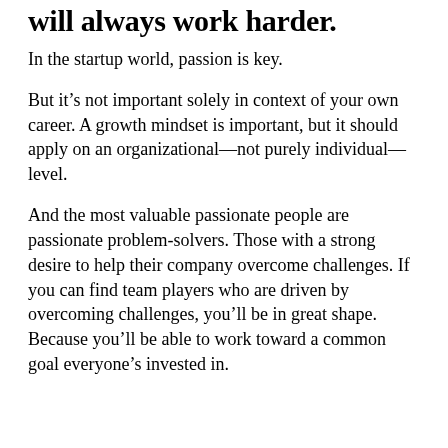will always work harder.
In the startup world, passion is key.
But it's not important solely in context of your own career. A growth mindset is important, but it should apply on an organizational—not purely individual—level.
And the most valuable passionate people are passionate problem-solvers. Those with a strong desire to help their company overcome challenges. If you can find team players who are driven by overcoming challenges, you'll be in great shape. Because you'll be able to work toward a common goal everyone's invested in.